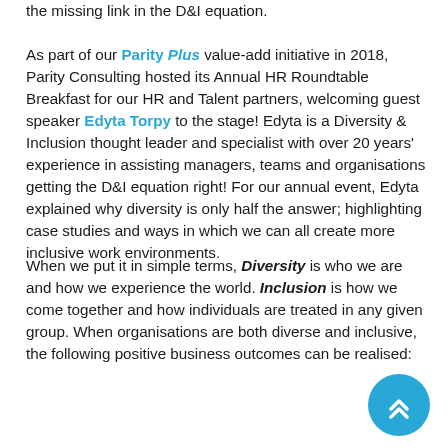the missing link in the D&I equation. As part of our Parity Plus value-add initiative in 2018, Parity Consulting hosted its Annual HR Roundtable Breakfast for our HR and Talent partners, welcoming guest speaker Edyta Torpy to the stage! Edyta is a Diversity & Inclusion thought leader and specialist with over 20 years' experience in assisting managers, teams and organisations getting the D&I equation right! For our annual event, Edyta explained why diversity is only half the answer; highlighting case studies and ways in which we can all create more inclusive work environments.
When we put it in simple terms, Diversity is who we are and how we experience the world. Inclusion is how we come together and how individuals are treated in any given group. When organisations are both diverse and inclusive, the following positive business outcomes can be realised: